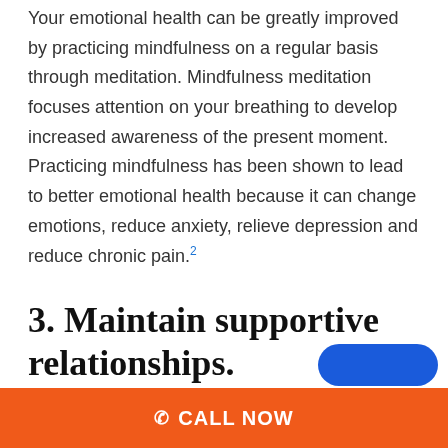Your emotional health can be greatly improved by practicing mindfulness on a regular basis through meditation. Mindfulness meditation focuses attention on your breathing to develop increased awareness of the present moment. Practicing mindfulness has been shown to lead to better emotional health because it can change emotions, reduce anxiety, relieve depression and reduce chronic pain.²
3. Maintain supportive relationships.
Healthy relationships with friends and family are crucially important for better e...
CALL NOW